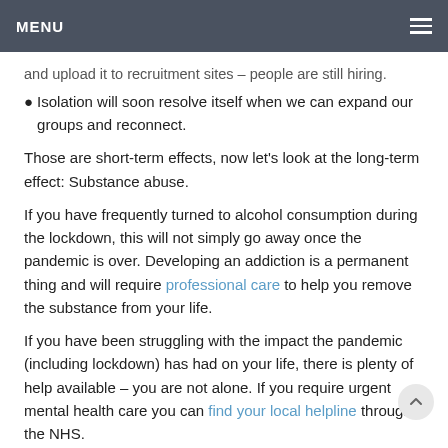MENU
and upload it to recruitment sites – people are still hiring.
Isolation will soon resolve itself when we can expand our groups and reconnect.
Those are short-term effects, now let's look at the long-term effect: Substance abuse.
If you have frequently turned to alcohol consumption during the lockdown, this will not simply go away once the pandemic is over. Developing an addiction is a permanent thing and will require professional care to help you remove the substance from your life.
If you have been struggling with the impact the pandemic (including lockdown) has had on your life, there is plenty of help available – you are not alone. If you require urgent mental health care you can find your local helpline through the NHS.